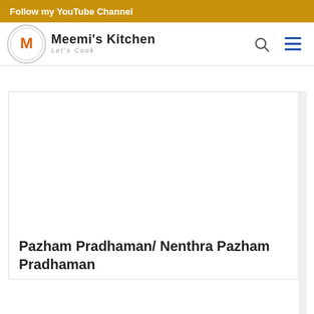Follow my YouTube Channel
[Figure (logo): Meemi's Kitchen logo with circular icon and text 'Meemi's Kitchen Let's Cook']
Pazham Pradhaman/ Nenthra Pazham Pradhaman